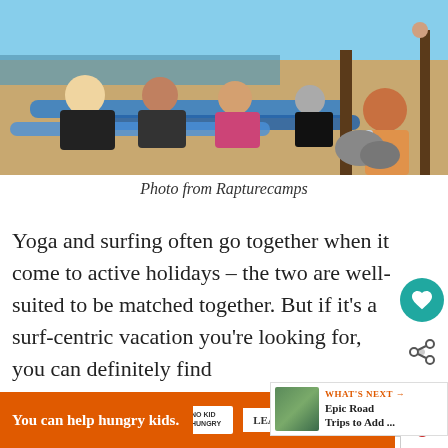[Figure (photo): People lying on surfboards on a sandy beach with an instructor, trees and ocean visible in the background]
Photo from Rapturecamps
Yoga and surfing often go together when it come to active holidays – the two are well-suited to be matched together. But if it's a surf-centric vacation you're looking for, you can definitely find
[Figure (screenshot): What's Next widget showing thumbnail of Epic Road Trips to Add ...]
[Figure (other): Advertisement banner: You can help hungry kids. No Kid Hungry. LEARN HOW button. Orange background.]